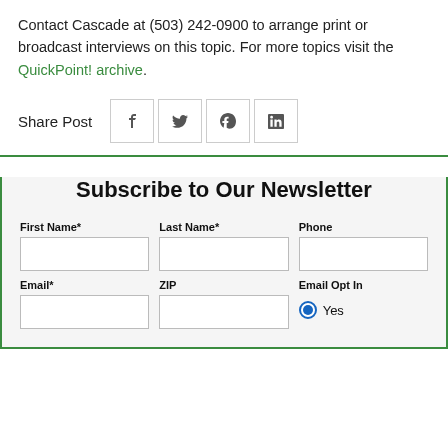Contact Cascade at (503) 242-0900 to arrange print or broadcast interviews on this topic. For more topics visit the QuickPoint! archive.
Share Post
Subscribe to Our Newsletter
First Name* Last Name* Phone Email* ZIP Email Opt In Yes